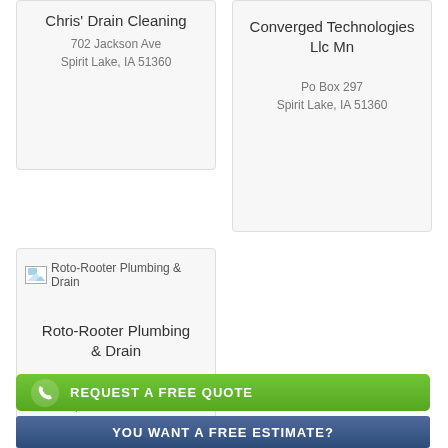Chris' Drain Cleaning
702 Jackson Ave
Spirit Lake, IA 51360
Converged Technologies Llc Mn
Po Box 297
Spirit Lake, IA 51360
[Figure (other): Broken image placeholder for Roto-Rooter Plumbing & Drain listing]
Roto-Rooter Plumbing & Drain
1951 260th Ave
Spencer, IA 51301
REQUEST A FREE QUOTE
YOU WANT A FREE ESTIMATE?